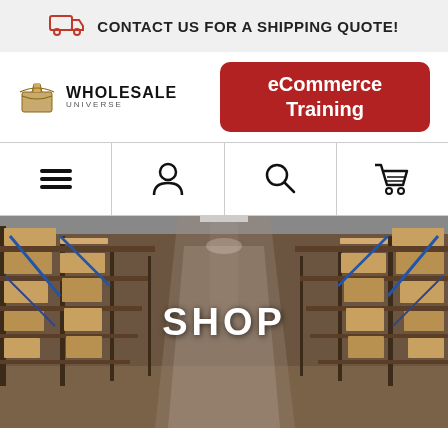CONTACT US FOR A SHIPPING QUOTE!
[Figure (logo): Wholesale Universe logo with cardboard box icon]
eCommerce Training
[Figure (infographic): Navigation bar with menu (hamburger), account (person), search (magnifying glass), and cart icons]
[Figure (photo): Warehouse aisle with tall shelving racks filled with cardboard boxes on both sides, with the word SHOP overlaid in white bold text]